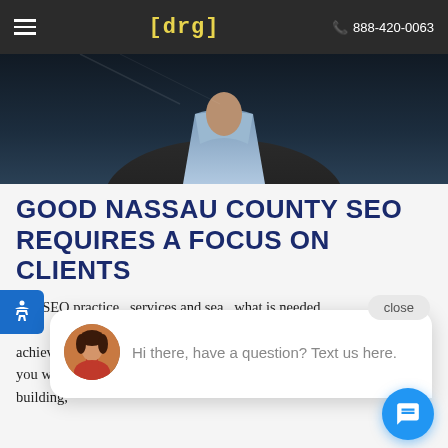[drg]  888-420-0063
[Figure (photo): Close-up photo of a person in a dark jacket and light shirt, upper body visible against dark background]
GOOD NASSAU COUNTY SEO REQUIRES A FOCUS ON CLIENTS
Our SEO practice  services and sea  what is needed.  achieve their business goals and deliver what the  engines want. Yes, you want website traffic from  SEO experts. On site optimization, link building,